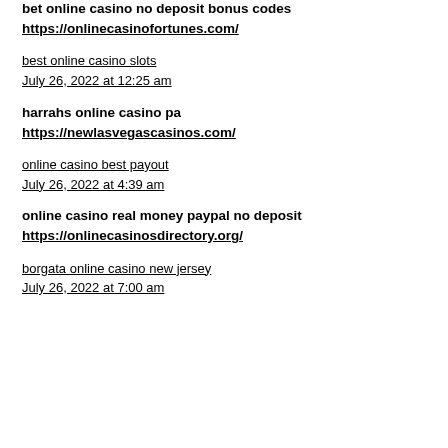bet online casino no deposit bonus codes
https://onlinecasinofortunes.com/
best online casino slots
July 26, 2022 at 12:25 am
harrahs online casino pa
https://newlasvegascasinos.com/
online casino best payout
July 26, 2022 at 4:39 am
online casino real money paypal no deposit
https://onlinecasinosdirectory.org/
borgata online casino new jersey
July 26, 2022 at 7:00 am